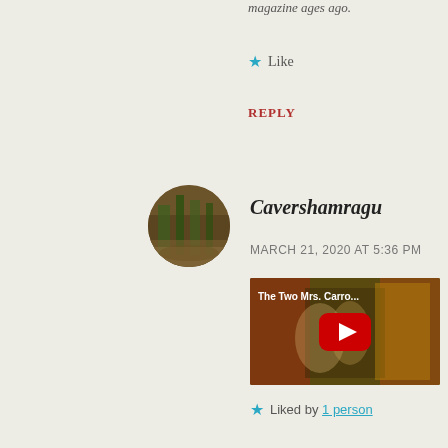magazine ages ago.
★ Like
REPLY
[Figure (photo): Circular avatar photo showing trees in a park with golden light]
Cavershamragu
MARCH 21, 2020 AT 5:36 PM
[Figure (screenshot): YouTube video thumbnail titled 'The Two Mrs. Carro...' showing two people embracing, with a red YouTube play button in the center]
★ Liked by 1 person